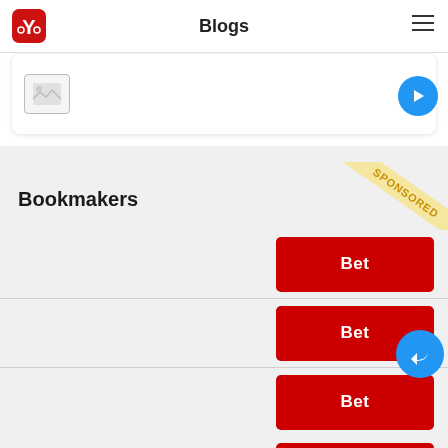Blogs
[Figure (screenshot): Partial view of a card with an image placeholder and a blue circular button on the right]
[Figure (infographic): Sponsored ribbon badge in upper-right corner of the bookmakers section]
Bookmakers
Bet
Bet
Bet
Bet
Bet